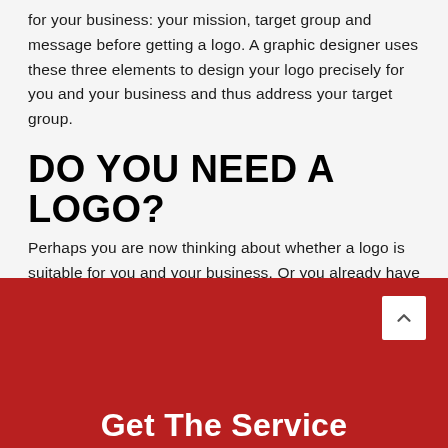for your business: your mission, target group and message before getting a logo. A graphic designer uses these three elements to design your logo precisely for you and your business and thus address your target group.
DO YOU NEED A LOGO?
Perhaps you are now thinking about whether a logo is suitable for you and your business. Or you already have a logo but are not satisfied with it. Then first check if you have the things mentioned and then think about how you want to design your new logo. With this, you have a basis and can look much more specifically which is a more sensible design for your logo.
[Figure (other): Dark red footer section with a white scroll-to-top button (chevron up icon) and partial white bold text 'Get The Service' at the bottom]